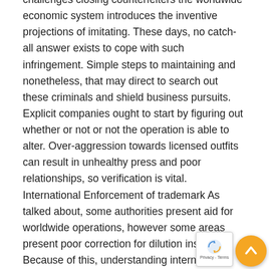challenges closing counterfeiters the worldwide economic system introduces the inventive projections of imitating. These days, no catch-all answer exists to cope with such infringement. Simple steps to maintaining and nonetheless, that may direct to search out these criminals and shield business pursuits. Explicit companies ought to start by figuring out whether or not or not the operation is able to alter. Over-aggression towards licensed outfits can result in unhealthy press and poor relationships, so verification is vital. International Enforcement of trademark As talked about, some authorities present aid for worldwide operations, however some areas present poor correction for dilution instances. Because of this, understanding international trademark regulation in doubtlessly some crucial instances is crucial to efficient enforcement. For instance, some areas do, for a three year interval, permit for registration on extra objects than the trademark is definitely used, offering chances to exclude those with trademark and use
[Figure (other): Orange circular back-to-top button with upward arrow, and a reCAPTCHA privacy/terms badge overlay in bottom-right corner]